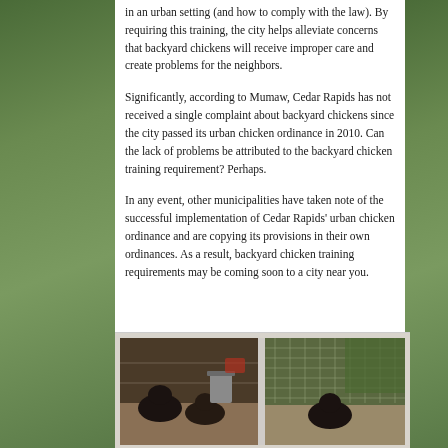in an urban setting (and how to comply with the law). By requiring this training, the city helps alleviate concerns that backyard chickens will receive improper care and create problems for the neighbors.
Significantly, according to Mumaw, Cedar Rapids has not received a single complaint about backyard chickens since the city passed its urban chicken ordinance in 2010. Can the lack of problems be attributed to the backyard chicken training requirement? Perhaps.
In any event, other municipalities have taken note of the successful implementation of Cedar Rapids' urban chicken ordinance and are copying its provisions in their own ordinances. As a result, backyard chicken training requirements may be coming soon to a city near you.
[Figure (photo): Two photos side by side of backyard chickens in an outdoor enclosure with fencing and organic ground cover.]